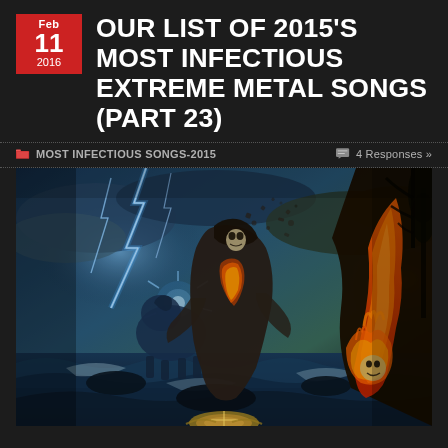OUR LIST OF 2015'S MOST INFECTIOUS EXTREME METAL SONGS (PART 23)
MOST INFECTIOUS SONGS-2015   4 Responses »
[Figure (illustration): Dark fantasy digital artwork showing a cloaked/hooded figure disintegrating amid lightning, fire, lava, and stormy ocean waves. On the left, blue-white lightning strikes. On the right, fiery orange lava flows. In the center, a skeletal robed figure breaks apart. At the bottom, a golden emblem/symbol is partially visible.]